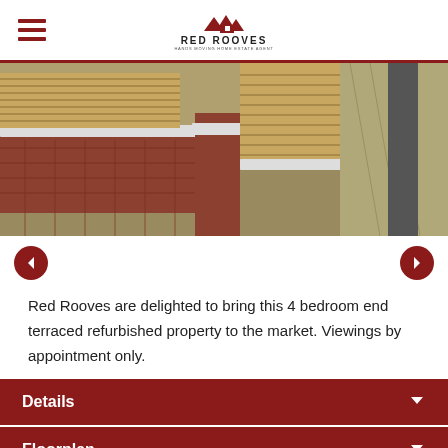Red Rooves — Hands Moving Home Estate Agent
[Figure (photo): Outdoor photo showing a brick wall with white stone capping, wooden fence panels (horizontal slat style), and a paved pathway on the right side.]
Red Rooves are delighted to bring this 4 bedroom end terraced refurbished property to the market. Viewings by appointment only.
Details
Floorplan